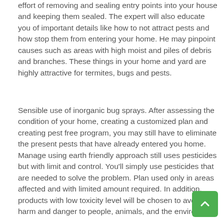effort of removing and sealing entry points into your house and keeping them sealed. The expert will also educate you of important details like how to not attract pests and how stop them from entering your home. He may pinpoint causes such as areas with high moist and piles of debris and branches. These things in your home and yard are highly attractive for termites, bugs and pests.
Sensible use of inorganic bug sprays. After assessing the condition of your home, creating a customized plan and creating pest free program, you may still have to eliminate the present pests that have already entered you home. Manage using earth friendly approach still uses pesticides but with limit and control. You'll simply use pesticides that are needed to solve the problem. Plan used only in areas affected and with limited amount required. In addition, products with low toxicity level will be chosen to avoid harm and danger to people, animals, and the environ…